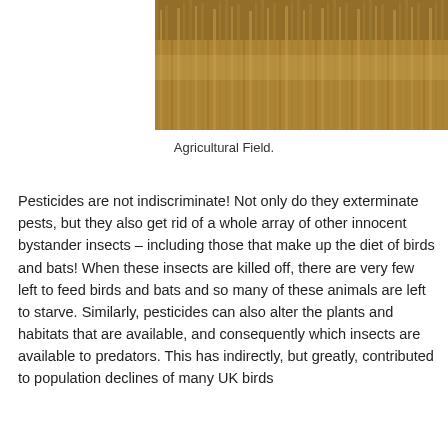[Figure (photo): Close-up photograph of golden wheat or grain stalks in an agricultural field]
Agricultural Field.
Pesticides are not indiscriminate! Not only do they exterminate pests, but they also get rid of a whole array of other innocent bystander insects – including those that make up the diet of birds and bats! When these insects are killed off, there are very few left to feed birds and bats and so many of these animals are left to starve. Similarly, pesticides can also alter the plants and habitats that are available, and consequently which insects are available to predators. This has indirectly, but greatly, contributed to population declines of many UK birds